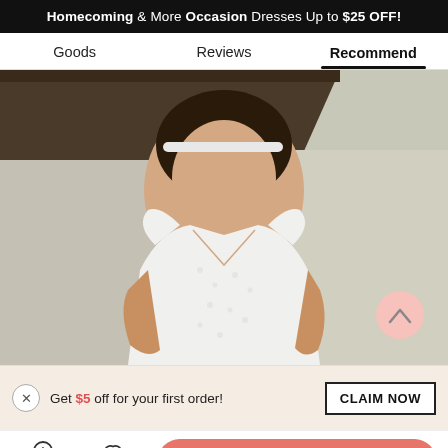Homecoming & More Occasion Dresses Up to $25 OFF!
Goods   Reviews   Recommend
[Figure (photo): Woman wearing a white lace wedding dress with cap sleeves and V-neckline, standing outdoors in front of a thatched-roof building with white walls. She has a headband and her hair is up.]
Get $5 off for your first order!   CLAIM NOW
Live Chat   Like   ADD TO BAG